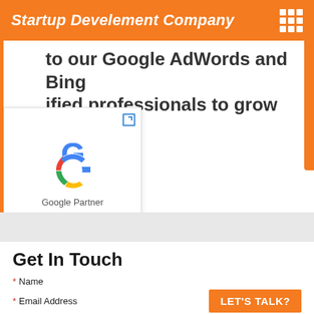Startup Develement Company
to our Google AdWords and Bing certified professionals to grow your business.
[Figure (logo): Google Partner logo with the Google 'G' multicolor logo and text 'Google Partner' below it, shown in a white popup card with external link icon.]
Get In Touch
* Name
* Email Address